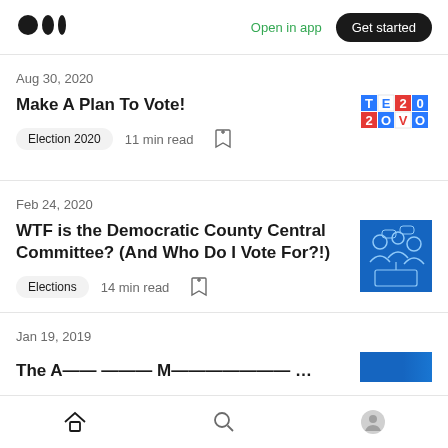Medium logo | Open in app | Get started
Aug 30, 2020
Make A Plan To Vote!
Election 2020   11 min read
[Figure (logo): TE2020 VOTE logo — grid of colored letter tiles spelling out TE20 / 2OVO]
Feb 24, 2020
WTF is the Democratic County Central Committee? (And Who Do I Vote For?!)
Elections   14 min read
[Figure (illustration): Blue illustration showing silhouettes of people with speech bubbles]
Jan 19, 2019
The A—— ——— M——————— 20—
Home | Search | Profile